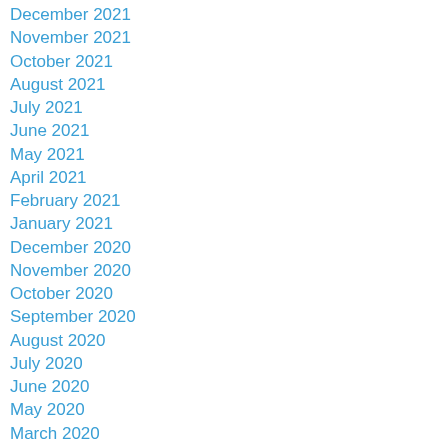December 2021
November 2021
October 2021
August 2021
July 2021
June 2021
May 2021
April 2021
February 2021
January 2021
December 2020
November 2020
October 2020
September 2020
August 2020
July 2020
June 2020
May 2020
March 2020
February 2020
January 2020